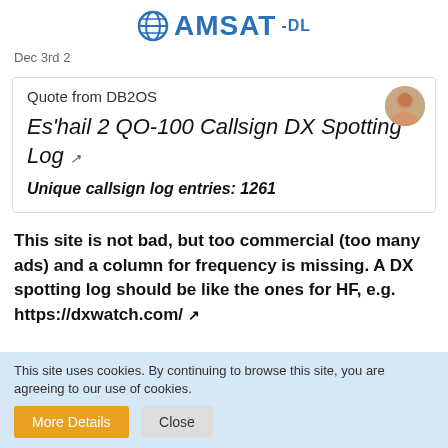AMSAT-DL
Dec 3rd 2
Quote from DB2OS
Es'hail 2 QO-100 Callsign DX Spotting Log
Unique callsign log entries: 1261
This site is not bad, but too commercial (too many ads) and a column for frequency is missing. A DX spotting log should be like the ones for HF, e.g. https://dxwatch.com/
This site uses cookies. By continuing to browse this site, you are agreeing to our use of cookies.
More Details
Close